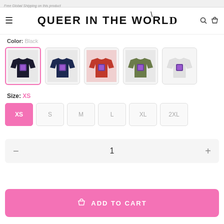Free Global Shipping on this product
QUEER IN THE WORLD
Color: Black
[Figure (screenshot): Five color variant swatches of a long-sleeve shirt: black (selected with pink border), navy, red, olive, and white]
Size: XS
XS  S  M  L  XL  2XL
1
ADD TO CART